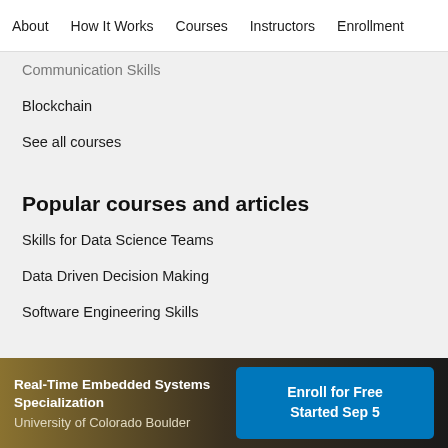About   How It Works   Courses   Instructors   Enrollment
Communication Skills
Blockchain
See all courses
Popular courses and articles
Skills for Data Science Teams
Data Driven Decision Making
Software Engineering Skills
Real-Time Embedded Systems Specialization
University of Colorado Boulder
Enroll for Free
Started Sep 5